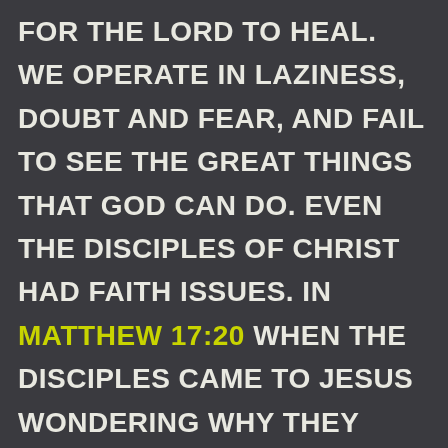for the Lord to heal. We operate in laziness, doubt and fear, and fail to see the great things that God can do. Even the disciples of Christ had faith issues. In Matthew 17:20 when the disciples came to Jesus wondering why they could not cast out a demon, Jesus replied, "Because of your unbelief: for verily I say unto you, if ye have faith as a grain of mustard seed, ye shall say unto this